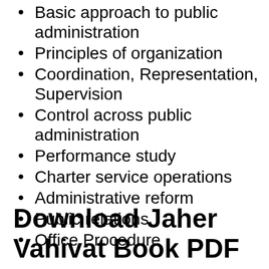Basic approach to public administration
Principles of organization
Coordination, Representation, Supervision
Control across public administration
Performance study
Charter service operations
Administrative reform
Public relations
Office Procedure
Download Jaher Vahivat Book PDF